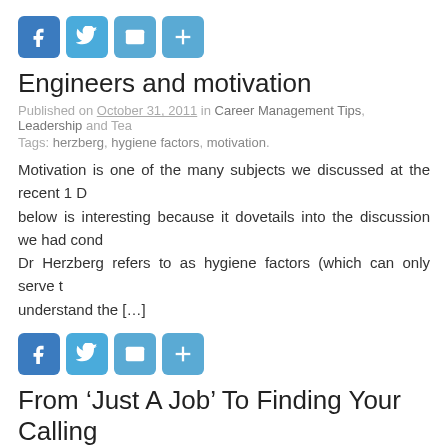[Figure (infographic): Row of four social share buttons: Facebook (f), Twitter (bird), Email (envelope), Share (+)]
Engineers and motivation
Published on October 31, 2011 in Career Management Tips, Leadership and Tea... Tags: herzberg, hygiene factors, motivation.
Motivation is one of the many subjects we discussed at the recent 1 D... below is interesting because it dovetails into the discussion we had cond... Dr Herzberg refers to as hygiene factors (which can only serve t... understand the […]
[Figure (infographic): Row of four social share buttons: Facebook (f), Twitter (bird), Email (envelope), Share (+)]
From ‘Just A Job’ To Finding Your Calling
Published on April 4, 2011 in Career Management Tips, Goal Setting and Leader... Tags: being on purpose, career development, finding your calling, motivation, out...
I come from a family that valued higher education, hard work and integ... these days. One of the foundational principles I was brought up with w...